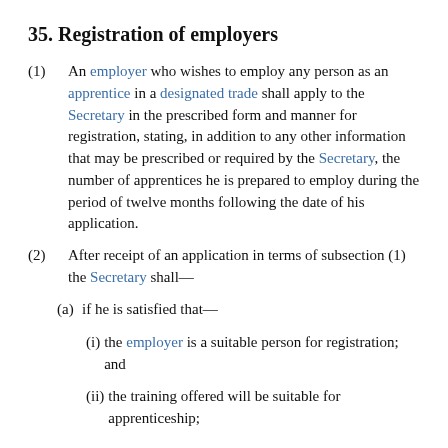35. Registration of employers
(1) An employer who wishes to employ any person as an apprentice in a designated trade shall apply to the Secretary in the prescribed form and manner for registration, stating, in addition to any other information that may be prescribed or required by the Secretary, the number of apprentices he is prepared to employ during the period of twelve months following the date of his application.
(2) After receipt of an application in terms of subsection (1) the Secretary shall—
(a) if he is satisfied that—
(i) the employer is a suitable person for registration; and
(ii) the training offered will be suitable for apprenticeship;